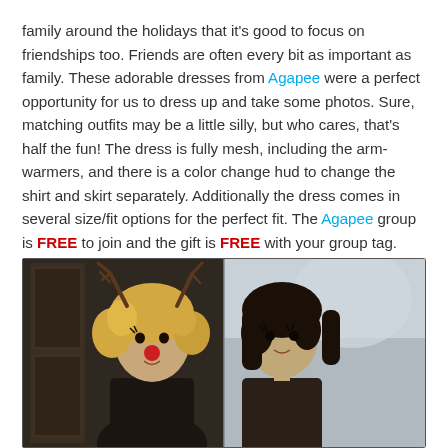family around the holidays that it's good to focus on friendships too. Friends are often every bit as important as family. These adorable dresses from Agapee were a perfect opportunity for us to dress up and take some photos. Sure, matching outfits may be a little silly, but who cares, that's half the fun! The dress is fully mesh, including the arm-warmers, and there is a color change hud to change the shirt and skirt separately. Additionally the dress comes in several size/fit options for the perfect fit. The Agapee group is FREE to join and the gift is FREE with your group tag. This dress would be perfect for a holiday outing with friends, or a casual date!
[Figure (photo): Two virtual avatar characters dressed in matching outfits. Left figure is a blonde character with reindeer antlers and a red nose. Right figure has dark hair. Background shows a door on the left and a snowy/grey scene on the right.]